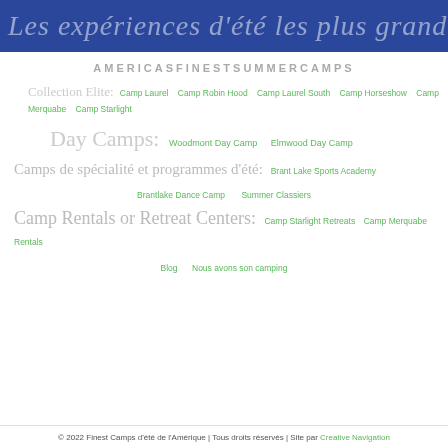Les expériences d'été les plus grandes
AMERICASFINESTSUMMERCAMPS
Collection Elite: Camp Laurel  Camp Robin Hood  Camp Laurel South  Camp Horseshow  Camp Merquabe  Camp Starlight
Day Camps: Woodmont Day Camp  Elmwood Day Camp
Camps de spécialité et programmes d'été: Brant Lake Sports Academy
Brantlake Dance Camp  Summer Classiers
Camp Rentals or Retreat Centers: Camp Starlight Retreats  Camp Merquabe Rentals
Blog  Nous avons son camping
© 2022 Finest Camps d'été de l'Amérique | Tous droits réservés | Site par Creative Navigation